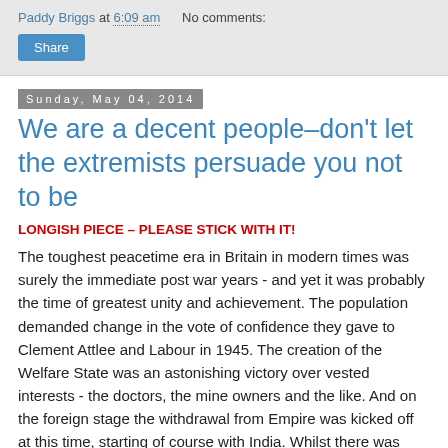Paddy Briggs at 6:09 am   No comments:
Share
Sunday, May 04, 2014
We are a decent people–don't let the extremists persuade you not to be
LONGISH PIECE – PLEASE STICK WITH IT!
The toughest peacetime era in Britain in modern times was surely the immediate post war years - and yet it was probably the time of greatest unity and achievement. The population demanded change in the vote of confidence they gave to Clement Attlee and Labour in 1945. The creation of the Welfare State was an astonishing victory over vested interests - the doctors, the mine owners and the like. And on the foreign stage the withdrawal from Empire was kicked off at this time, starting of course with India. Whilst there was opposition in Parliament from the Conservatives to this revolution, and to some extent in the Shires, in the main